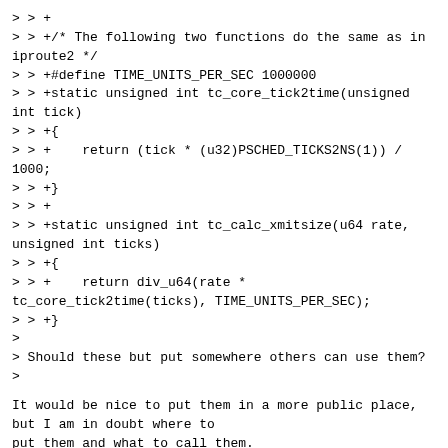> > +
> > +/* The following two functions do the same as in iproute2 */
> > +#define TIME_UNITS_PER_SEC 1000000
> > +static unsigned int tc_core_tick2time(unsigned int tick)
> > +{
> > +    return (tick * (u32)PSCHED_TICKS2NS(1)) / 1000;
> > +}
> > +
> > +static unsigned int tc_calc_xmitsize(u64 rate, unsigned int ticks)
> > +{
> > +    return div_u64(rate * tc_core_tick2time(ticks), TIME_UNITS_PER_SEC);
> > +}
>
> Should these but put somewhere others can use them?
>
It would be nice to put them in a more public place, but I am in doubt where to
put them and what to call them.
Maybe they belong in the new file:
include/net/tc_act/tc_police.h.
Would that be ok?
> > +
> > +enum mscc_qos_rate_mode {